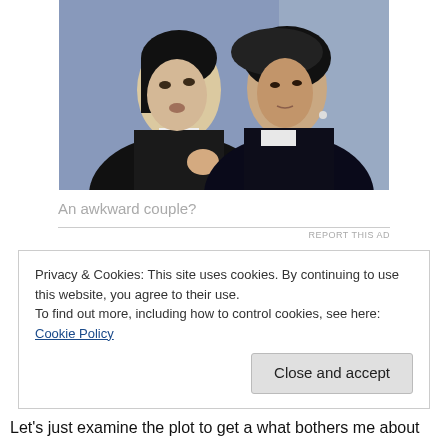[Figure (photo): Two Asian actors in a scene, a young man in a black jacket with a red wristband and a woman in a black leather jacket facing each other closely, appearing to be in a tense or awkward moment, blurred city background.]
An awkward couple?
REPORT THIS AD
Privacy & Cookies: This site uses cookies. By continuing to use this website, you agree to their use.
To find out more, including how to control cookies, see here: Cookie Policy
Close and accept
Let's just examine the plot to get a what bothers me about